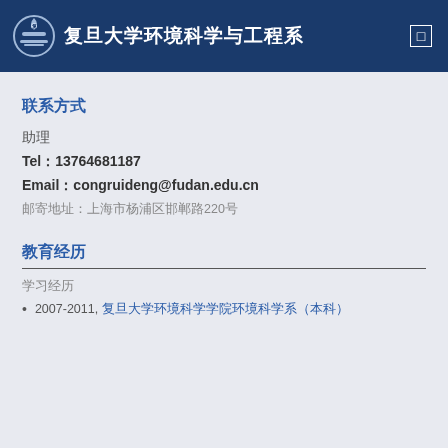复旦大学环境科学与工程系
联系方式
助理
Tel：13764681187
Email：congruideng@fudan.edu.cn
邮寄地址：上海市杨浦区邯郸路220号
教育经历
学习经历
2007-2011, 复旦大学环境科学学院环境科学系（本科）